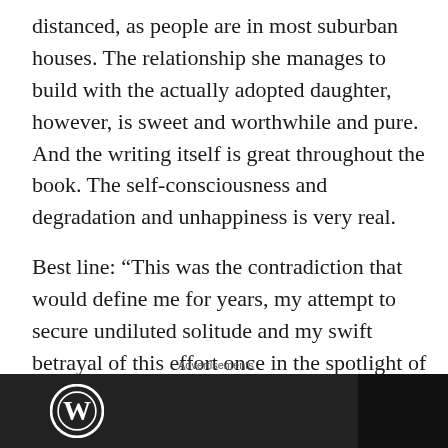distanced, as people are in most suburban houses. The relationship she manages to build with the actually adopted daughter, however, is sweet and worthwhile and pure. And the writing itself is great throughout the book. The self-consciousness and degradation and unhappiness is very real.

Best line: “This was the contradiction that would define me for years, my attempt to secure undiluted solitude and my swift betrayal of this effort once in the spotlight of an interested man.”
[Figure (other): Advertisement banner with dark background showing WordPress logo on the left and a dark box on the right]